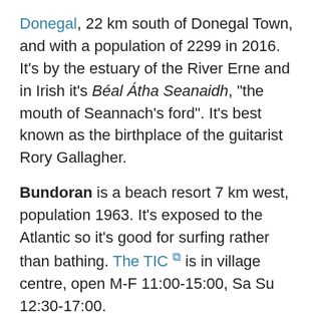Donegal, 22 km south of Donegal Town, and with a population of 2299 in 2016. It's by the estuary of the River Erne and in Irish it's Béal Átha Seanaidh, "the mouth of Seannach's ford". It's best known as the birthplace of the guitarist Rory Gallagher.
Bundoran is a beach resort 7 km west, population 1963. It's exposed to the Atlantic so it's good for surfing rather than bathing. The TIC is in village centre, open M-F 11:00-15:00, Sa Su 12:30-17:00.
Belleek 8 km east is just over the border in County Fermanagh. With a population of 904 in 2011, it's famous for its pottery.
Everywhere in County Donegal is close to the UK border, but especially the pinchpoint of this southern corner. If you take Bus 30 from Ballyshannon to Belleek, it drops you on